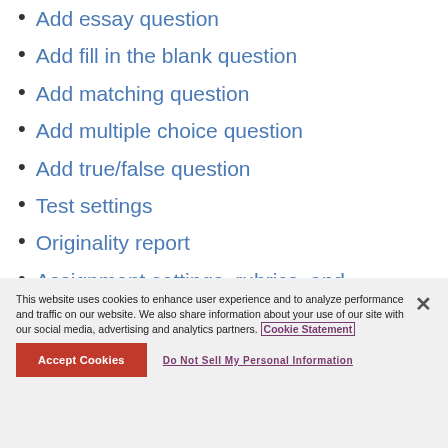Add essay question
Add fill in the blank question
Add matching question
Add multiple choice question
Add true/false question
Test settings
Originality report
Assignment settings, rubrics, and submissions
This website uses cookies to enhance user experience and to analyze performance and traffic on our website. We also share information about your use of our site with our social media, advertising and analytics partners. Cookie Statement
Accept Cookies   Do Not Sell My Personal Information